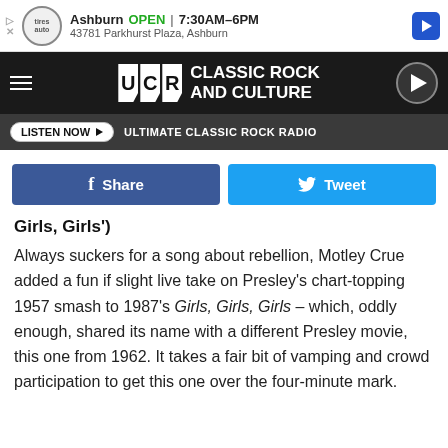[Figure (screenshot): Ad banner for Jiffy Lube / tire auto service in Ashburn showing OPEN 7:30AM-6PM and address 43781 Parkhurst Plaza, Ashburn]
[Figure (logo): UCR Ultimate Classic Rock and Culture website navigation header with hamburger menu, UCR logo, and play button]
[Figure (screenshot): Listen Now button with ULTIMATE CLASSIC ROCK RADIO text on dark bar]
[Figure (screenshot): Facebook Share and Twitter Tweet social share buttons]
Girls, Girls')
Always suckers for a song about rebellion, Motley Crue added a fun if slight live take on Presley's chart-topping 1957 smash to 1987's Girls, Girls, Girls – which, oddly enough, shared its name with a different Presley movie, this one from 1962. It takes a fair bit of vamping and crowd participation to get this one over the four-minute mark.